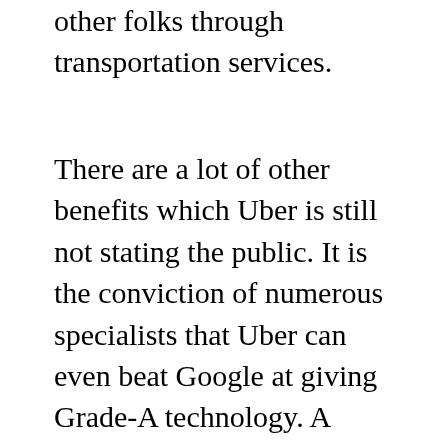other folks through transportation services.
There are a lot of other benefits which Uber is still not stating the public. It is the conviction of numerous specialists that Uber can even beat Google at giving Grade-A technology. A rumor has been circulating that Uber is trying to develop business programming solutions to support more types of businesses, like quick transportation for employees and safe conveyance of physical goods. The company is being managed properly, with